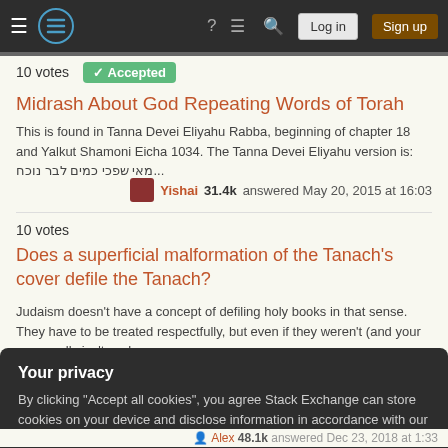Stack Exchange navigation bar with Log in and Sign up buttons
10 votes  Accepted
Midrash About God Repeating Words of Torah
This is found in Tanna Devei Eliyahu Rabba, beginning of chapter 18 and Yalkut Shamoni Eicha 1034. The Tanna Devei Eliyahu version is: ...מאי שפכי כמים לבר נוכח
Yishai 31.4k answered May 20, 2015 at 16:03
10 votes
Does a superficial malformation of the Tanach's cover defile the Tanach?
Judaism doesn't have a concept of defiling holy books in that sense. They have to be treated respectfully, but even if they weren't (and your case really isn't such an…
Your privacy
By clicking "Accept all cookies", you agree Stack Exchange can store cookies on your device and disclose information in accordance with our Cookie Policy.
Accept all cookies
Customize settings
Alex 48.1k answered Dec 23, 2018 at 1:33